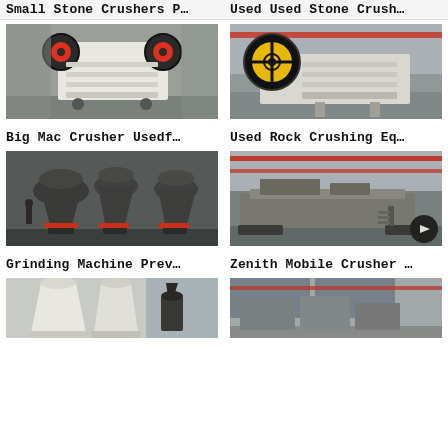Small Stone Crushers P…
Used Used Stone Crush…
[Figure (photo): White jaw crusher machine in industrial factory setting]
[Figure (photo): Yellow and black jaw crusher machine in factory]
Big Mac Crusher Usedf…
Used Rock Crushing Eq…
[Figure (photo): Cone grinding machines in dark industrial setting]
[Figure (photo): Zenith mobile crusher on tracks in factory with badge overlay]
Grinding Machine Prev…
Zenith Mobile Crusher …
[Figure (photo): White cone crusher machines at bottom of page]
[Figure (photo): Industrial crushing equipment in warehouse at bottom of page]